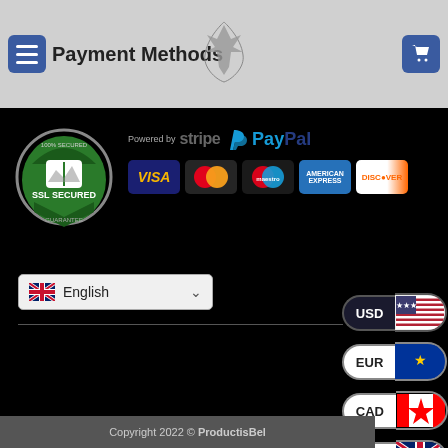Payment Methods
[Figure (logo): SSL SECURED badge (green circular trust seal)]
[Figure (logo): Powered by Stripe logo]
[Figure (logo): PayPal logo]
[Figure (logo): Payment card logos: VISA, MasterCard, Maestro, American Express, Discover]
[Figure (screenshot): Language selector dropdown showing English with UK flag]
[Figure (screenshot): Currency selector pills: USD (US flag), EUR (EU flag), CAD (Canadian flag), GBP (UK flag)]
Copyright 2022 © ProductisBel